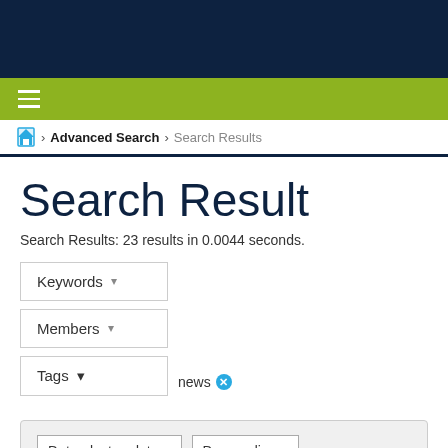≡
Home > Advanced Search > Search Results
Search Result
Search Results: 23 results in 0.0044 seconds.
Keywords ▾
Members ▾
Tags ▾  news ✕
Date - last update ▾   Descending ▾